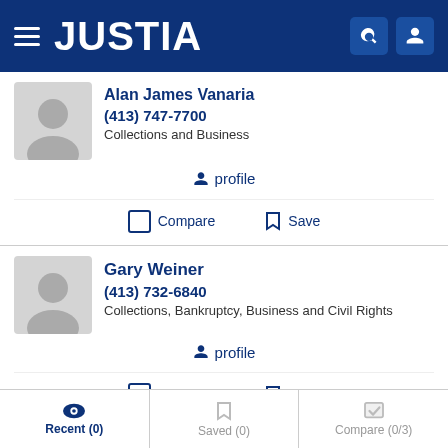JUSTIA
Alan James Vanaria
(413) 747-7700
Collections and Business
profile
Compare  Save
Gary Weiner
(413) 732-6840
Collections, Bankruptcy, Business and Civil Rights
profile
Compare  Save
Recent (0)   Saved (0)   Compare (0/3)